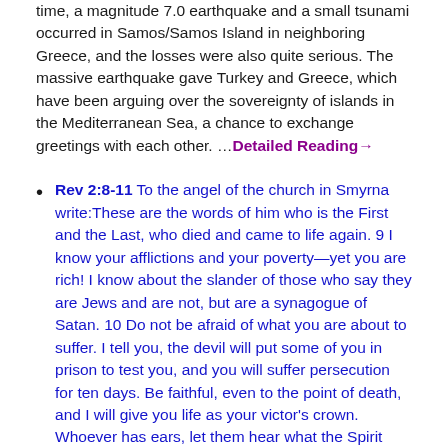time, a magnitude 7.0 earthquake and a small tsunami occurred in Samos/Samos Island in neighboring Greece, and the losses were also quite serious. The massive earthquake gave Turkey and Greece, which have been arguing over the sovereignty of islands in the Mediterranean Sea, a chance to exchange greetings with each other. …Detailed Reading→
Rev 2:8-11 To the angel of the church in Smyrna write: These are the words of him who is the First and the Last, who died and came to life again. 9 I know your afflictions and your poverty—yet you are rich! I know about the slander of those who say they are Jews and are not, but are a synagogue of Satan. 10 Do not be afraid of what you are about to suffer. I tell you, the devil will put some of you in prison to test you, and you will suffer persecution for ten days. Be faithful, even to the point of death, and I will give you life as your victor's crown. Whoever has ears, let them hear what the Spirit says to the churches. The one who is victorious will not be hurt at